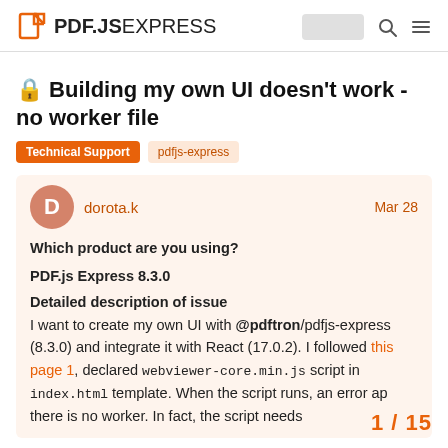PDF.JS EXPRESS
🔒 Building my own UI doesn't work - no worker file
Technical Support
pdfjs-express
dorota.k   Mar 28
Which product are you using?
PDF.js Express 8.3.0
Detailed description of issue
I want to create my own UI with @pdftron/pdfjs-express (8.3.0) and integrate it with React (17.0.2). I followed this page 1, declared webviewer-core.min.js script in index.html template. When the script runs, an error ap there is no worker. In fact, the script needs
1 / 15